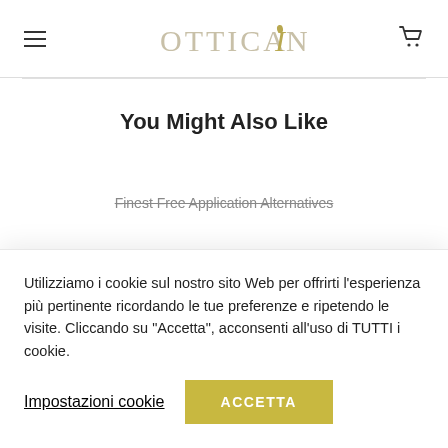OTTICAIN (logo)
You Might Also Like
Finest Free Application Alternatives
Utilizziamo i cookie sul nostro sito Web per offrirti l'esperienza più pertinente ricordando le tue preferenze e ripetendo le visite. Cliccando su "Accetta", acconsenti all'uso di TUTTI i cookie.
Impostazioni cookie
ACCETTA